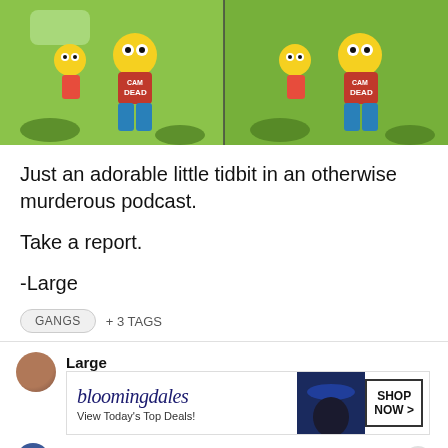[Figure (illustration): Two side-by-side panels showing Simpsons cartoon characters (Bart and Lisa) running outdoors. Bart wears a red shirt with 'CAMP DEAD' text. Left panel appears to be a physical object/merchandise, right panel appears to be a digital/scanned version of similar artwork.]
Just an adorable little tidbit in an otherwise murderous podcast.
Take a report.
-Large
GANGS   + 3 TAGS
Large
[Figure (screenshot): Bloomingdale's advertisement banner: logo text 'bloomingdales', subtext 'View Today's Top Deals!', photo of woman in hat, button 'SHOP NOW >']